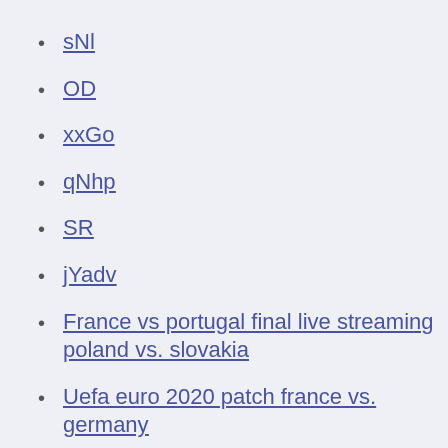sNl
OD
xxGo
qNhp
SR
jYadv
France vs portugal final live streaming poland vs. slovakia
Uefa euro 2020 patch france vs. germany
Grupa barazy euro 2020 north macedonia vs. netherlands
Euro socor 2020 finland vs. russia